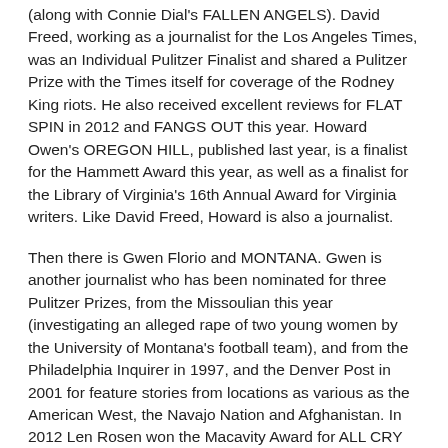(along with Connie Dial's FALLEN ANGELS). David Freed, working as a journalist for the Los Angeles Times, was an Individual Pulitzer Finalist and shared a Pulitzer Prize with the Times itself for coverage of the Rodney King riots. He also received excellent reviews for FLAT SPIN in 2012 and FANGS OUT this year. Howard Owen's OREGON HILL, published last year, is a finalist for the Hammett Award this year, as well as a finalist for the Library of Virginia's 16th Annual Award for Virginia writers. Like David Freed, Howard is also a journalist.
Then there is Gwen Florio and MONTANA. Gwen is another journalist who has been nominated for three Pulitzer Prizes, from the Missoulian this year (investigating an alleged rape of two young women by the University of Montana's football team), and from the Philadelphia Inquirer in 1997, and the Denver Post in 2001 for feature stories from locations as various as the American West, the Navajo Nation and Afghanistan. In 2012 Len Rosen won the Macavity Award for ALL CRY CHAOS, was a finalist for the Edgar Award for Best First Novel and also for the Anthony Award, and was a Chautauqua Prize finalist as well.